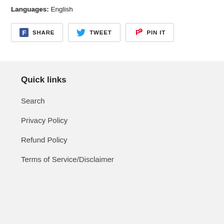Languages: English
[Figure (other): Social share buttons: Facebook SHARE, Twitter TWEET, Pinterest PIN IT]
Quick links
Search
Privacy Policy
Refund Policy
Terms of Service/Disclaimer